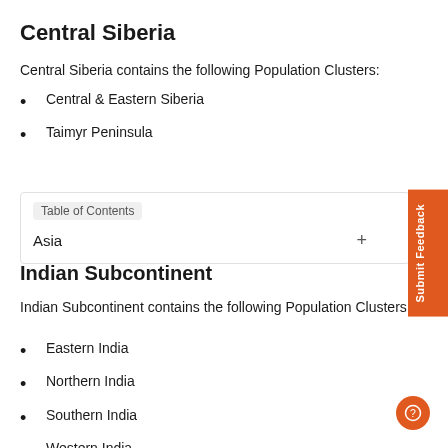Central Siberia
Central Siberia contains the following Population Clusters:
Central & Eastern Siberia
Taimyr Peninsula
Table of Contents
Asia
Indian Subcontinent
Indian Subcontinent contains the following Population Clusters:
Eastern India
Northern India
Southern India
Western India